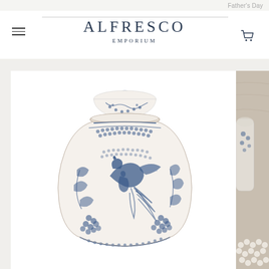Father's Day
[Figure (logo): Alfresco Emporium logo with hamburger menu and cart icon in website header]
[Figure (photo): Blue and white Chinese porcelain ginger jar with phoenix and floral decoration, showing domed lid with knob finial, displayed on white background]